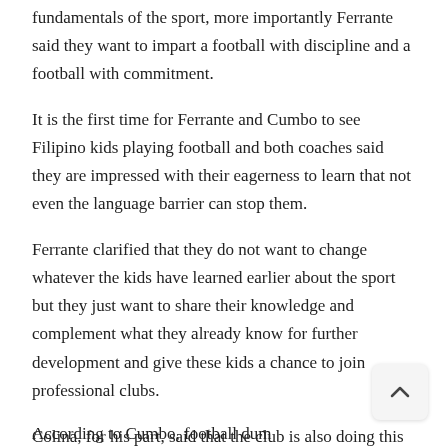fundamentals of the sport, more importantly Ferrante said they want to impart a football with discipline and a football with commitment.
It is the first time for Ferrante and Cumbo to see Filipino kids playing football and both coaches said they are impressed with their eagerness to learn that not even the language barrier can stop them.
Ferrante clarified that they do not want to change whatever the kids have learned earlier about the sport but they just want to share their knowledge and complement what they already know for further development and give these kids a chance to join professional clubs.
Colina, for his part, said that the club is also doing this to help kids get scholarships, nurture their dreams and change their lives for the better.
According to Cumbo, football dum...